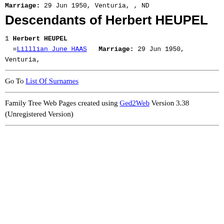Marriage: 29 Jun 1950, Venturia, , ND
Descendants of Herbert HEUPEL
1 Herbert HEUPEL
  =Lilllian June HAAS   Marriage: 29 Jun 1950, Venturia,
Go To List Of Surnames
Family Tree Web Pages created using Ged2Web Version 3.38 (Unregistered Version)